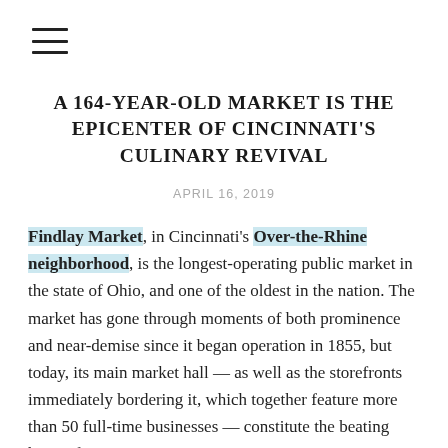☰
A 164-YEAR-OLD MARKET IS THE EPICENTER OF CINCINNATI'S CULINARY REVIVAL
APRIL 16, 2019
Findlay Market, in Cincinnati's Over-the-Rhine neighborhood, is the longest-operating public market in the state of Ohio, and one of the oldest in the nation. The market has gone through moments of both prominence and near-demise since it began operation in 1855, but today, its main market hall — as well as the storefronts immediately bordering it, which together feature more than 50 full-time businesses — constitute the beating heart of Cincinnati's